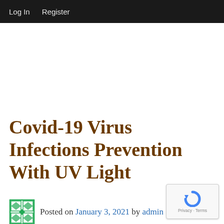Log In   Register
Covid-19 Virus Infections Prevention With UV Light
Posted on January 3, 2021 by admin